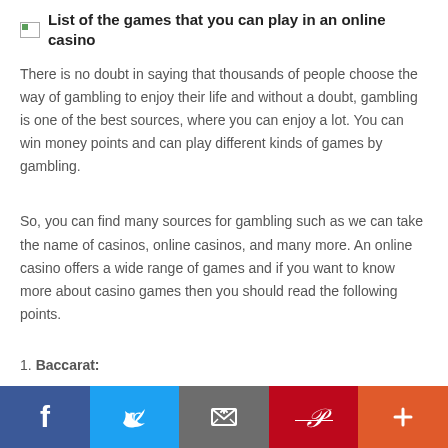List of the games that you can play in an online casino
There is no doubt in saying that thousands of people choose the way of gambling to enjoy their life and without a doubt, gambling is one of the best sources, where you can enjoy a lot. You can win money points and can play different kinds of games by gambling.
So, you can find many sources for gambling such as we can take the name of casinos, online casinos, and many more. An online casino offers a wide range of games and if you want to know more about casino games then you should read the following points.
1. Baccarat:
[Figure (other): Social sharing bar with Facebook, Twitter, Email, Pinterest, and Plus buttons]